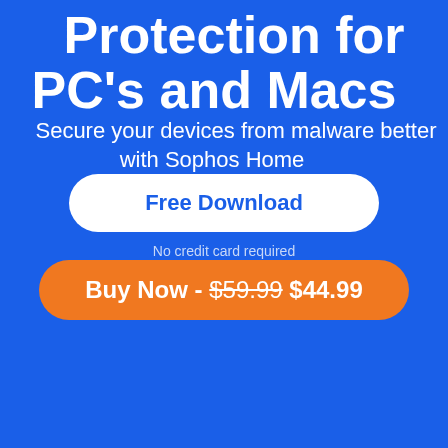Protection for PC's and Macs
Secure your devices from malware better with Sophos Home
Free Download
No credit card required
Buy Now - $59.99 $44.99